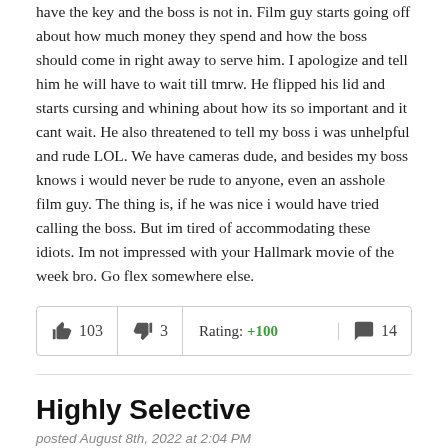have the key and the boss is not in. Film guy starts going off about how much money they spend and how the boss should come in right away to serve him. I apologize and tell him he will have to wait till tmrw. He flipped his lid and starts cursing and whining about how its so important and it cant wait. He also threatened to tell my boss i was unhelpful and rude LOL. We have cameras dude, and besides my boss knows i would never be rude to anyone, even an asshole film guy. The thing is, if he was nice i would have tried calling the boss. But im tired of accommodating these idiots. Im not impressed with your Hallmark movie of the week bro. Go flex somewhere else.
| Thumbs up | Count | Thumbs down | Count | Rating | Comments |
| --- | --- | --- | --- | --- | --- |
| 👍 | 103 | 👎 | 3 | Rating: +100 | 💬 14 |
Highly Selective
posted August 8th, 2022 at 2:04 PM
I've become increasingly selective about who I will keep in my life. I have way fewer relationships than I used to, but they are much more satisfying. I no longer tolerate a lot of behaviours socially, and I am left